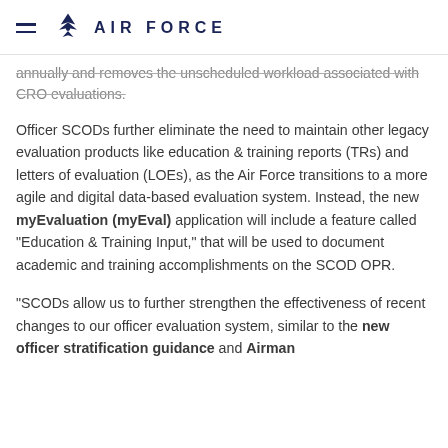AIR FORCE
annually and removes the unscheduled workload associated with CRO evaluations.
Officer SCODs further eliminate the need to maintain other legacy evaluation products like education & training reports (TRs) and letters of evaluation (LOEs), as the Air Force transitions to a more agile and digital data-based evaluation system. Instead, the new myEvaluation (myEval) application will include a feature called “Education & Training Input,” that will be used to document academic and training accomplishments on the SCOD OPR.
“SCODs allow us to further strengthen the effectiveness of recent changes to our officer evaluation system, similar to the new officer stratification guidance and Airman